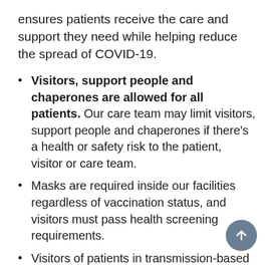ensures patients receive the care and support they need while helping reduce the spread of COVID-19.
Visitors, support people and chaperones are allowed for all patients. Our care team may limit visitors, support people and chaperones if there's a health or safety risk to the patient, visitor or care team.
Masks are required inside our facilities regardless of vaccination status, and visitors must pass health screening requirements.
Visitors of patients in transmission-based isolation (including COVID-19) must follow proper personal protective equipment (PPE) precautions such as wearing a gown, gloves, etc. as instructed by our care team.